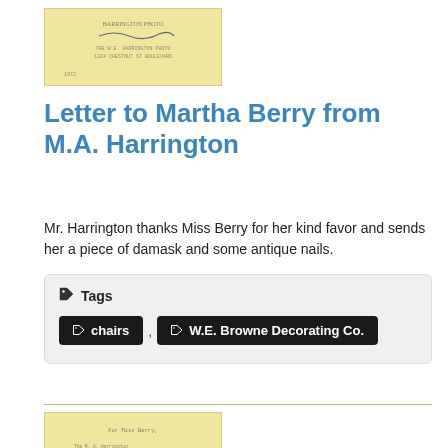[Figure (photo): Yellowed envelope or document with handwritten signature and text, aged paper appearance]
Letter to Martha Berry from M.A. Harrington
Mr. Harrington thanks Miss Berry for her kind favor and sends her a piece of damask and some antique nails.
Tags
chairs
W.E. Browne Decorating Co.
[Figure (photo): Yellowed typed letter document, aged paper with typed text visible]